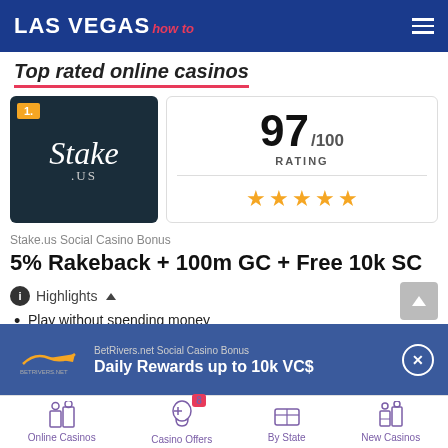LAS VEGAS how to
Top rated online casinos
[Figure (logo): Stake.us casino logo on dark teal background with rank badge '1.']
97/100 RATING ★★★★★
Stake.us Social Casino Bonus
5% Rakeback + 100m GC + Free 10k SC
Highlights ▲
Play without spending money
In-house original games
Great overall game portfolio
BetRivers.net Social Casino Bonus
Daily Rewards up to 10k VC$
Online Casinos | Casino Offers 8 | By State | New Casinos